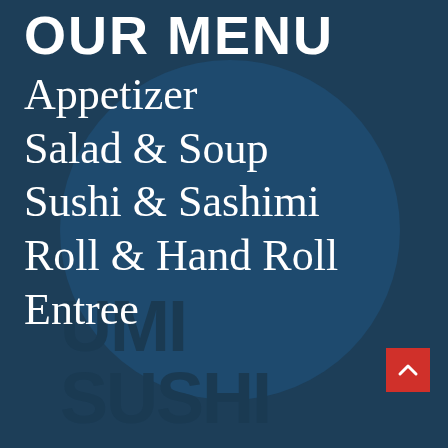OUR MENU
Appetizer
Salad & Soup
Sushi & Sashimi
Roll & Hand Roll
Entree